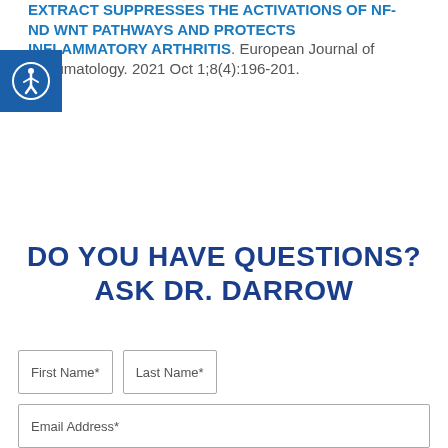EXTRACT SUPPRESSES THE ACTIVATIONS OF NF- ND WNT PATHWAYS AND PROTECTS INFLAMMATORY ARTHRITIS. European Journal of Rheumatology. 2021 Oct 1;8(4):196-201.
[Figure (logo): Accessibility icon - white person in circle on blue square background]
DO YOU HAVE QUESTIONS? ASK DR. DARROW
First Name* | Last Name* | Email Address*